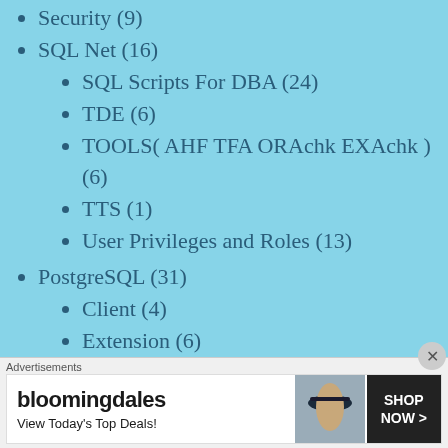Security (9)
SQL Net (16)
SQL Scripts For DBA (24)
TDE (6)
TOOLS( AHF TFA ORAchk EXAchk ) (6)
TTS (1)
User Privileges and Roles (13)
PostgreSQL (31)
Client (4)
Extension (6)
Install and Upgrade (8)
Migration (4)
Objects (4)
Performance Tuning (1)
Advertisements
[Figure (infographic): Bloomingdale's advertisement banner: logo text 'bloomingdales', tagline 'View Today's Top Deals!', with a SHOP NOW > button and image of woman in hat]